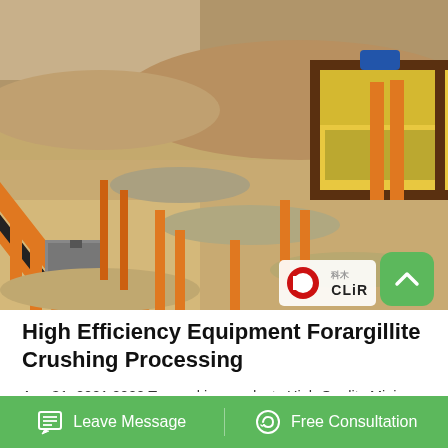[Figure (photo): Aerial/elevated view of a stone crushing plant with orange steel frame conveyor belts crossing diagonally, gravel piles and industrial crushing machinery in background. CLIR logo visible in bottom-right corner of photo.]
High Efficiency Equipment Forargillite Crushing Processing
Aug 31, 2021 2020 Top ranking products High Quality Mining Machinery Stone Crushing Cone Crusher and Jaw crusher. Top-ranking products.
Leave Message
Free Consultation